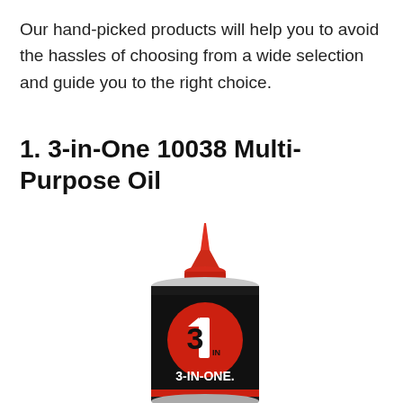Our hand-picked products will help you to avoid the hassles of choosing from a wide selection and guide you to the right choice.
1. 3-in-One 10038 Multi-Purpose Oil
[Figure (photo): A can of 3-IN-ONE multi-purpose oil with a red nozzle/spout on top. The can has a black label with a red circle containing a stylized '3 IN' logo and the text '3-IN-ONE.' at the bottom of the label.]